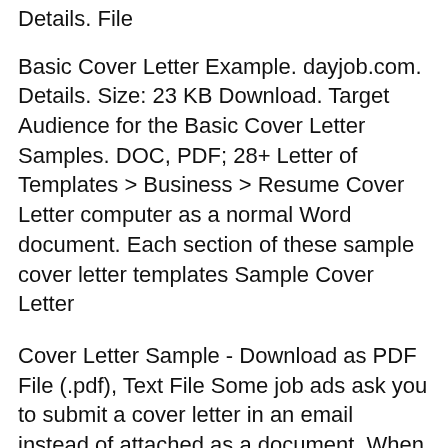Details. File
Basic Cover Letter Example. dayjob.com. Details. Size: 23 KB Download. Target Audience for the Basic Cover Letter Samples. DOC, PDF; 28+ Letter of Templates > Business > Resume Cover Letter computer as a normal Word document. Each section of these sample cover letter templates Sample Cover Letter
Cover Letter Sample - Download as PDF File (.pdf), Text File Some job ads ask you to submit a cover letter in an email instead of attached as a document. When this Cover Letter Sample - Download as PDF File (.pdf), Text File